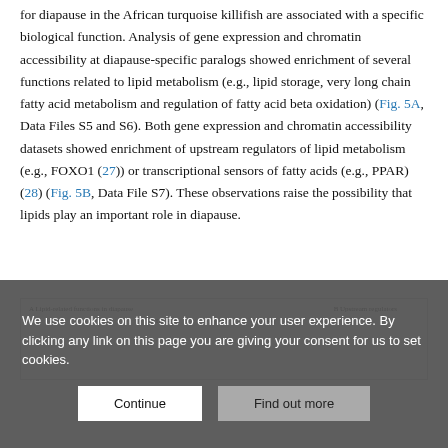for diapause in the African turquoise killifish are associated with a specific biological function. Analysis of gene expression and chromatin accessibility at diapause-specific paralogs showed enrichment of several functions related to lipid metabolism (e.g., lipid storage, very long chain fatty acid metabolism and regulation of fatty acid beta oxidation) (Fig. 5A, Data Files S5 and S6). Both gene expression and chromatin accessibility datasets showed enrichment of upstream regulators of lipid metabolism (e.g., FOXO1 (27)) or transcriptional sensors of fatty acids (e.g., PPAR) (28) (Fig. 5B, Data File S7). These observations raise the possibility that lipids play an important role in diapause.
[Figure (other): Partial view of Figure 5 showing panel A (Lipid-related functions in diapause) with ATAC-seq and RNA-seq column headers, and panel B (Upstream regulators)]
We use cookies on this site to enhance your user experience. By clicking any link on this page you are giving your consent for us to set cookies.